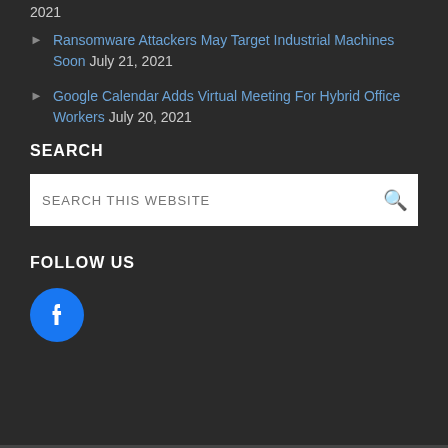Ransomware Attackers May Target Industrial Machines Soon July 21, 2021
Google Calendar Adds Virtual Meeting For Hybrid Office Workers July 20, 2021
SEARCH
SEARCH THIS WEBSITE
FOLLOW US
[Figure (logo): Facebook logo icon, circular blue Facebook 'f' logo]